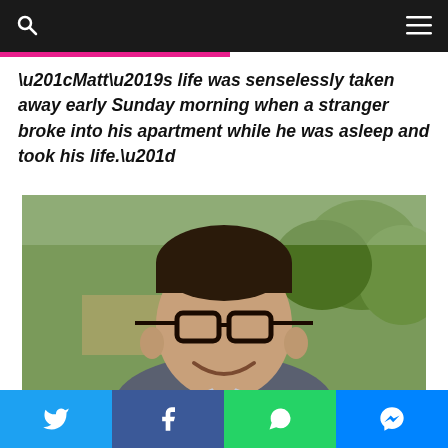“Matt’s life was senselessly taken away early Sunday morning when a stranger broke into his apartment while he was asleep and took his life.”
[Figure (photo): Photo of a young Asian man smiling, wearing glasses and a suit jacket, with trees in the background.]
Image via GoFundMe